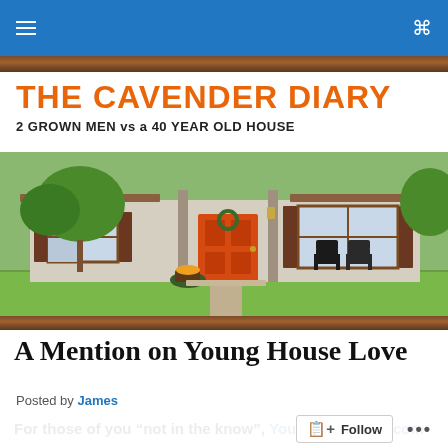THE CAVENDER DIARY
THE CAVENDER DIARY
2 GROWN MEN vs a 40 YEAR OLD HOUSE
[Figure (photo): Exterior photo of a ranch-style brick house with an orange front door, brown shutters, porch with chairs, and lush green landscaping]
A Mention on Young House Love
Posted by James
For those of you “not in the know”, Younghouselove.com